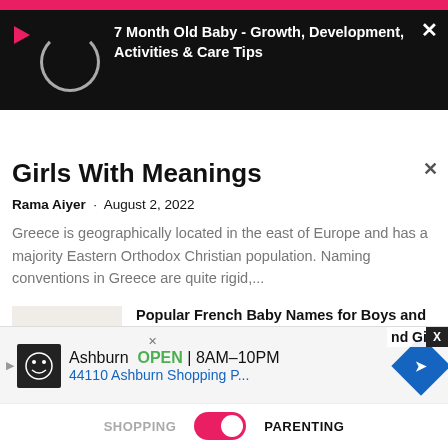[Figure (screenshot): Video overlay panel with play icon, loading spinner circle, and title '7 Month Old Baby - Growth, Development, Activities & Care Tips' on black background]
Girls With Meanings
Rama Aiyer · August 2, 2022
Greece is geographically located in the east of Europe and has a majority Eastern Orthodox Christian population. Naming conventions in Greece are quite rigid,...
[Figure (photo): Thumbnail of two baby dolls wrapped in blue and red fabric]
Popular French Baby Names for Boys and Girls With Meanings
August 2, 2022
[Figure (screenshot): Advertisement banner: Ashburn OPEN 8AM-10PM, 44110 Ashburn Shopping P...]
SHOPPING   PARENTING